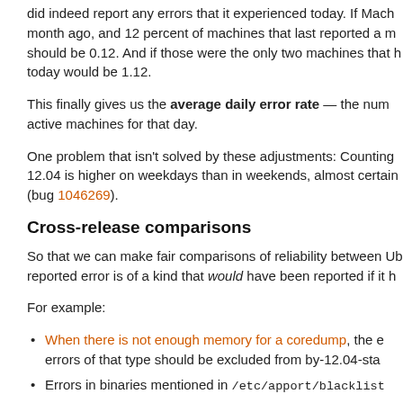did indeed report any errors that it experienced today. If Mach month ago, and 12 percent of machines that last reported a m should be 0.12. And if those were the only two machines that today would be 1.12.
This finally gives us the average daily error rate — the num active machines for that day.
One problem that isn't solved by these adjustments: Counting 12.04 is higher on weekdays than in weekends, almost certain (bug 1046269).
Cross-release comparisons
So that we can make fair comparisons of reliability between U reported error is of a kind that would have been reported if it h
For example:
When there is not enough memory for a coredump, the e errors of that type should be excluded from by-12.04-sta
Errors in binaries mentioned in /etc/apport/blacklist
errors.ubuntu.com